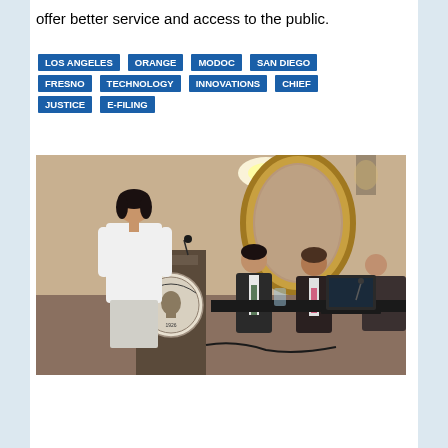offer better service and access to the public.
LOS ANGELES
ORANGE
MODOC
SAN DIEGO
FRESNO
TECHNOLOGY
INNOVATIONS
CHIEF
JUSTICE
E-FILING
[Figure (photo): A woman in a white jacket speaks at a podium bearing the Judicial Council of California seal (1926). Three people are seated at a table behind her in a hotel ballroom setting.]